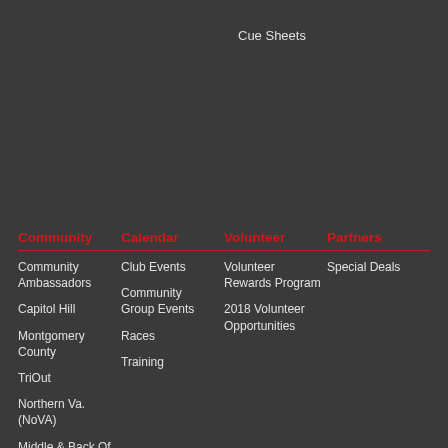Cue Sheets
Community
Community Ambassadors
Capitol Hill
Montgomery County
TriOut
Northern Va. (NoVA)
Middle & Back Of Pack Group
Calendar
Club Events
Community Group Events
Races
Training
Volunteer
Volunteer Rewards Program
2018 Volunteer Opportunities
Partners
Special Deals